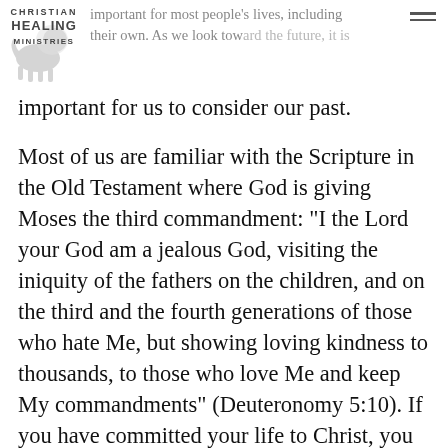[Figure (logo): Christian Healing Ministries logo with lion illustration and text]
important for most people's lives, including their own. As we look toward the future, it is important for us to consider our past.
Most of us are familiar with the Scripture in the Old Testament where God is giving Moses the third commandment: "I the Lord your God am a jealous God, visiting the iniquity of the fathers on the children, and on the third and the fourth generations of those who hate Me, but showing loving kindness to thousands, to those who love Me and keep My commandments" (Deuteronomy 5:10). If you have committed your life to Christ, you probably aren't too worried